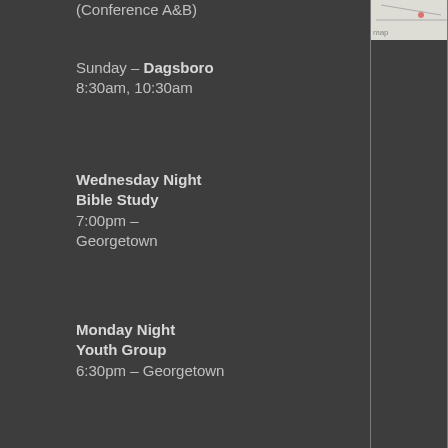(Conference A&B)
Sunday – Dagsboro
8:30am, 10:30am
Wednesday Night Bible Study
7:00pm – Georgetown
Monday Night Youth Group
6:30pm – Georgetown
20684 State Forest Rd Georgetown DE 19947
Office: 302-629-0111
Fax: 302-629-2233
[Figure (map): Partial map image visible at top right of page]